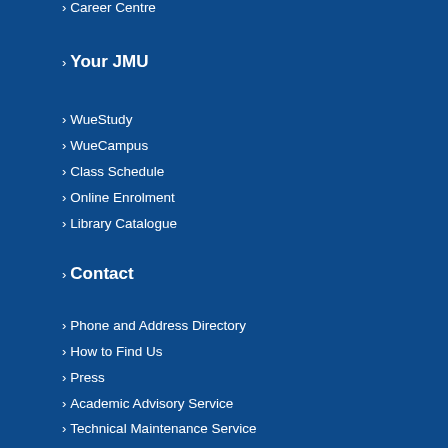Career Centre
Your JMU
WueStudy
WueCampus
Class Schedule
Online Enrolment
Library Catalogue
Contact
Phone and Address Directory
How to Find Us
Press
Academic Advisory Service
Technical Maintenance Service
Need help quickly?
Page options
Sitemap
Picture credits